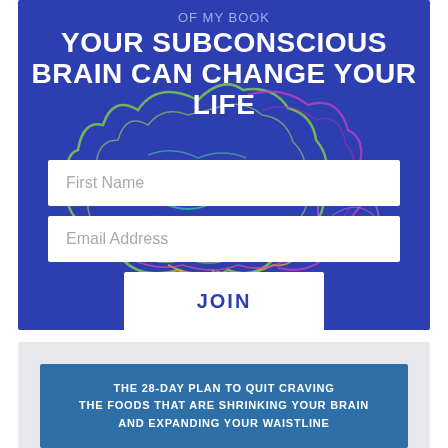OF MY BOOK
YOUR SUBCONSCIOUS BRAIN CAN CHANGE YOUR LIFE
[Figure (illustration): Colorful neon-line outline of a human brain on blue background]
First Name
Email Address
JOIN
THE 28-DAY PLAN TO QUIT CRAVING THE FOODS THAT ARE SHRINKING YOUR BRAIN AND EXPANDING YOUR WAISTLINE